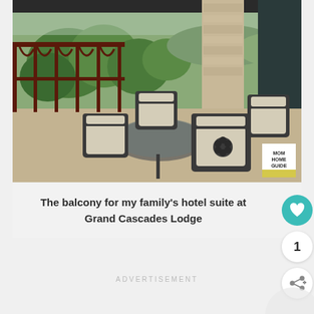[Figure (photo): A covered balcony patio with dark wrought-iron outdoor furniture including chairs with cream/white cushions and a round glass-top table. A stone fireplace column is visible in the background. Ornate dark railing borders the balcony with green landscape visible beyond. A 'Mom Home Guide' watermark logo appears in the bottom right corner of the photo.]
The balcony for my family's hotel suite at Grand Cascades Lodge
ADVERTISEMENT